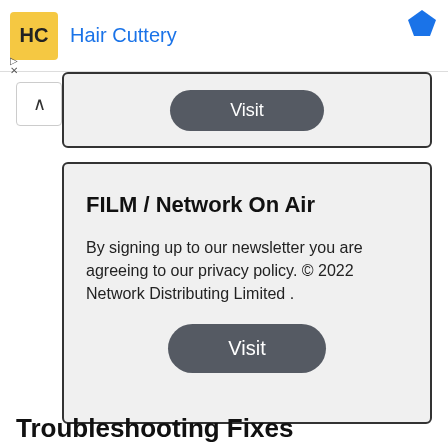[Figure (logo): Hair Cuttery advertisement banner with logo and blue title text]
[Figure (screenshot): Partial card with Visit button at the top]
FILM / Network On Air
By signing up to our newsletter you are agreeing to our privacy policy. © 2022 Network Distributing Limited .
Troubleshooting Fixes